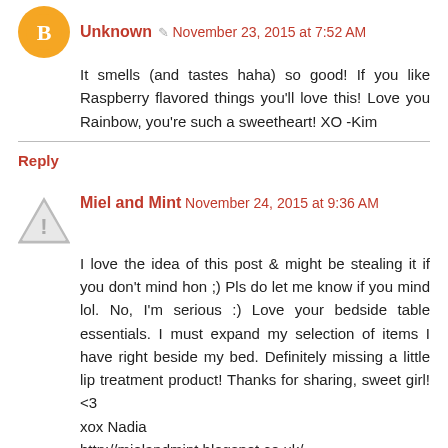Unknown  November 23, 2015 at 7:52 AM
It smells (and tastes haha) so good! If you like Raspberry flavored things you'll love this! Love you Rainbow, you're such a sweetheart! XO -Kim
Reply
Miel and Mint  November 24, 2015 at 9:36 AM
I love the idea of this post & might be stealing it if you don't mind hon ;) Pls do let me know if you mind lol. No, I'm serious :) Love your bedside table essentials. I must expand my selection of items I have right beside my bed. Definitely missing a little lip treatment product! Thanks for sharing, sweet girl! <3
xox Nadia
http://mielandmint.blogspot.co.uk/
Reply
Replies
Unknown  November 24, 2015 at 9:41 AM